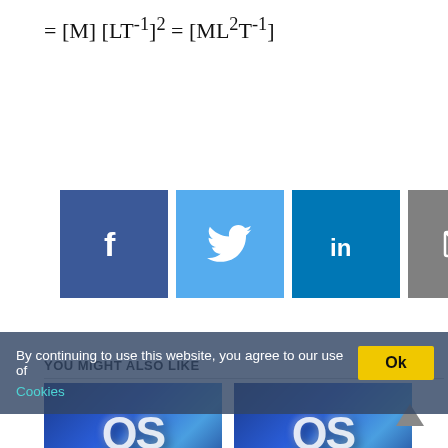[Figure (infographic): Social share buttons: Facebook (dark blue), Twitter (light blue), LinkedIn (blue), Email (gray)]
YOU MIGHT ALSO LIKE
[Figure (photo): Thumbnail image with QS logo on blue gradient background — Define and Describe on Isothermal Process]
Define and Describe on Isothermal Process
[Figure (photo): Thumbnail image with QS logo on blue gradient background — Explain First law of Thermodynamics]
Explain First law of Thermodynamics
By continuing to use this website, you agree to our use of Cookies